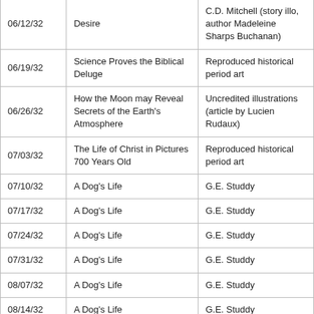| Date | Title | Illustrator/Notes |
| --- | --- | --- |
| 06/12/32 | Desire | C.D. Mitchell (story illo, author Madeleine Sharps Buchanan) |
| 06/19/32 | Science Proves the Biblical Deluge | Reproduced historical period art |
| 06/26/32 | How the Moon may Reveal Secrets of the Earth's Atmosphere | Uncredited illustrations (article by Lucien Rudaux) |
| 07/03/32 | The Life of Christ in Pictures 700 Years Old | Reproduced historical period art |
| 07/10/32 | A Dog's Life | G.E. Studdy |
| 07/17/32 | A Dog's Life | G.E. Studdy |
| 07/24/32 | A Dog's Life | G.E. Studdy |
| 07/31/32 | A Dog's Life | G.E. Studdy |
| 08/07/32 | A Dog's Life | G.E. Studdy |
| 08/14/32 | A Dog's Life | G.E. Studdy |
| 08/21/32 | Pets #1 - Pretty Polly | Henry Clive, verses by Carolyn Wells |
| 08/28/32 | Pets #2 - A Lucky Dog | Henry Clive, verses by Carolyn Wells |
|  |  | Henry Clive, verses by |